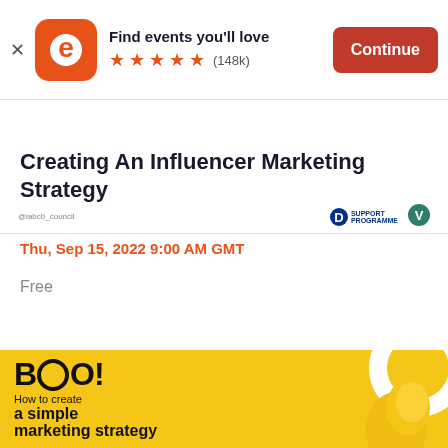[Figure (screenshot): Eventbrite app banner with orange E logo, 'Find events you'll love', 5 stars rating (148k), and Continue button]
[Figure (screenshot): Partner logos bar showing @labcb_council, a blue D SUPPORT PROGRAMME logo, and a teal V logo]
Creating An Influencer Marketing Strategy
Thu, Sep 15, 2022 9:00 AM GMT
Free
[Figure (illustration): Yellow promotional banner with 'BoO!' text, 'How to create a simple marketing strategy' text, and yellow lightbulb graphic on right]